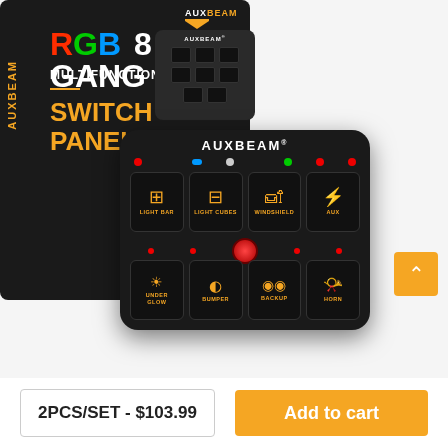[Figure (photo): Auxbeam RGB 8 Gang Multifunction Switch Panel product image showing the retail box and the device itself. The box is black with colorful RGB 8 GANG MULTIFUNCTION SWITCH PANEL text in orange/yellow. The device is a black panel with 8 illuminated orange buttons labeled: LIGHT BAR, LIGHT CUBES, WINDSHIELD, AUX, UNDER GLOW, BUMPER, BACKUP, HORN. AUXBEAM branding on top of device.]
2PCS/SET - $103.99
Add to cart